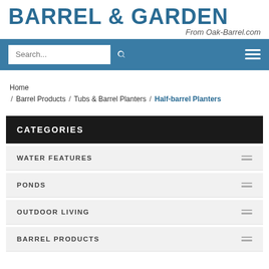BARREL & GARDEN — From Oak-Barrel.com
Search...
Home / Barrel Products / Tubs & Barrel Planters / Half-barrel Planters
CATEGORIES
WATER FEATURES
PONDS
OUTDOOR LIVING
BARREL PRODUCTS